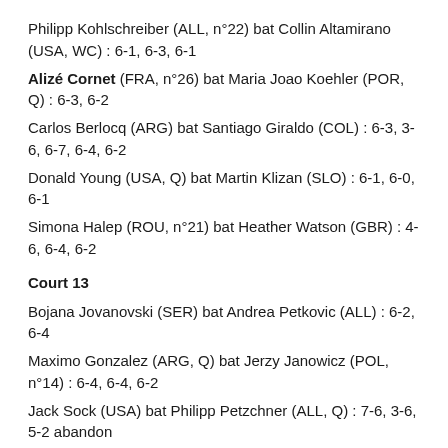Philipp Kohlschreiber (ALL, n°22) bat Collin Altamirano (USA, WC) : 6-1, 6-3, 6-1
Alizé Cornet (FRA, n°26) bat Maria Joao Koehler (POR, Q) : 6-3, 6-2
Carlos Berlocq (ARG) bat Santiago Giraldo (COL) : 6-3, 3-6, 6-7, 6-4, 6-2
Donald Young (USA, Q) bat Martin Klizan (SLO) : 6-1, 6-0, 6-1
Simona Halep (ROU, n°21) bat Heather Watson (GBR) : 4-6, 6-4, 6-2
Court 13
Bojana Jovanovski (SER) bat Andrea Petkovic (ALL) : 6-2, 6-4
Maximo Gonzalez (ARG, Q) bat Jerzy Janowicz (POL, n°14) : 6-4, 6-4, 6-2
Jack Sock (USA) bat Philipp Petzchner (ALL, Q) : 7-6, 3-6, 5-2 abandon